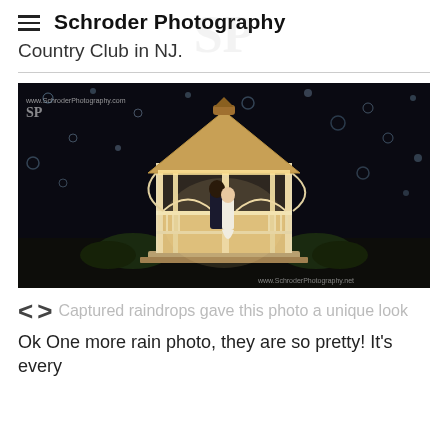Schroder Photography
Country Club in NJ.
[Figure (photo): Wedding couple kissing inside an illuminated white gazebo at night, with rain bokeh visible in the dark background. Watermarks: www.SchroderPhotography.com and www.SchroderPhotography.net]
Captured raindrops gave this photo a unique look
Ok One more rain photo, they are so pretty! It's every